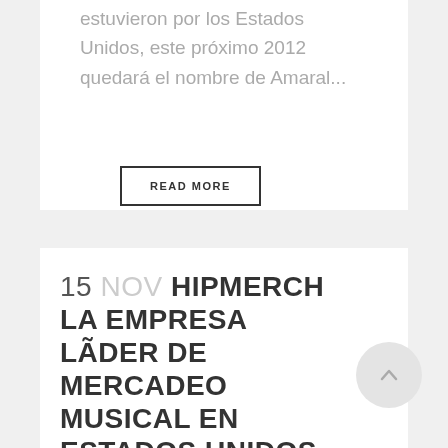estuvieron por los Estados Unidos, este próximo 2012 quedará el nombre de Amaral...
READ MORE
15 NOV HIPMERCH LA EMPRESA LÃDER DE MERCADEO MUSICAL EN ESTADOS UNIDOS AGREGA A SU